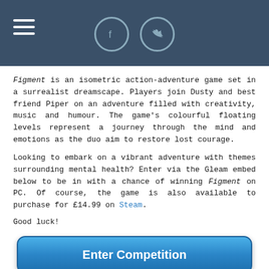Navigation header with hamburger menu and social icons (Facebook, Twitter)
Figment is an isometric action-adventure game set in a surrealist dreamscape. Players join Dusty and best friend Piper on an adventure filled with creativity, music and humour. The game's colourful floating levels represent a journey through the mind and emotions as the duo aim to restore lost courage.
Looking to embark on a vibrant adventure with themes surrounding mental health? Enter via the Gleam embed below to be in with a chance of winning Figment on PC. Of course, the game is also available to purchase for £14.99 on Steam.
Good luck!
[Figure (other): Blue rounded-rectangle button labeled 'Enter Competition']
0 Comments